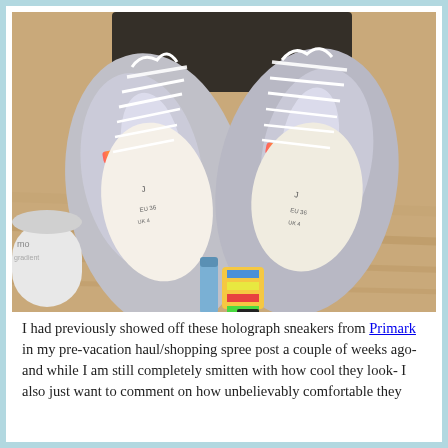[Figure (photo): Top-down view of a pair of silver/holographic sneakers with white laces, laid on a wooden floor surface. Visible inside the sneakers are white insoles. On the left side a jar of product labelled 'mo gradient' is partially visible. In the center-bottom area a blue lip balm stick and a colorful tag/keyring are visible. On the far right edge a green rope or cord is visible.]
I had previously showed off these holograph sneakers from Primark in my pre-vacation haul/shopping spree post a couple of weeks ago- and while I am still completely smitten with how cool they look- I also just want to comment on how unbelievably comfortable they